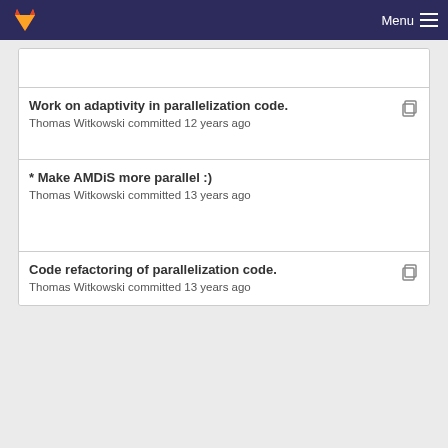Menu
Work on adaptivity in parallelization code.
Thomas Witkowski committed 12 years ago
* Make AMDiS more parallel :)
Thomas Witkowski committed 13 years ago
Code refactoring of parallelization code.
Thomas Witkowski committed 13 years ago